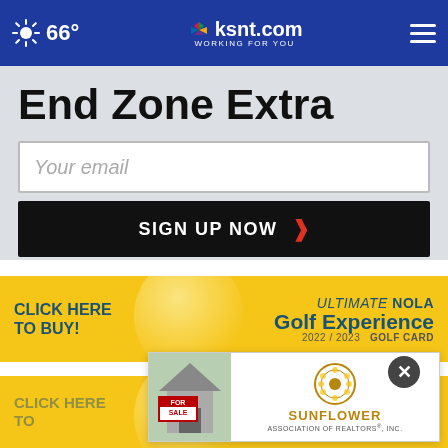66° ksnt.com WORKING FOR YOU
End Zone Extra
Your email
SIGN UP NOW
[Figure (infographic): Advertisement banner: CLICK HERE TO BUY! ULTIMATE NOLA Golf Experience 2022/2023 GOLF CARD on yellow background with golf ball image]
[Figure (infographic): Second advertisement banner partially visible: CLICK HERE TO... ULTIMATE NOLA ...nce ...ARD on yellow background]
[Figure (infographic): Popup overlay ad: Sunflower Association of Realtors, Inc. with For Sale sign image and circular logo]